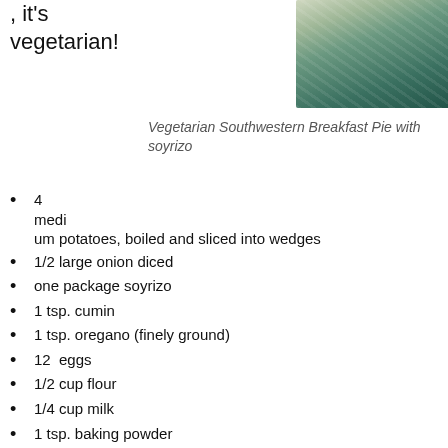, it's vegetarian!
[Figure (photo): Photo of Vegetarian Southwestern Breakfast Pie with soyrizo in a dish, viewed from above, showing a green and cream colored casserole]
Vegetarian Southwestern Breakfast Pie with soyrizo
4 medium potatoes, boiled and sliced into wedges
1/2 large onion diced
one package soyrizo
1 tsp. cumin
1 tsp. oregano (finely ground)
12  eggs
1/2 cup flour
1/4 cup milk
1 tsp. baking powder
4 heaping tbsp. chunky salsa (as spicy as you like)
2 tbsp. olive oil
8 oz. package of Mexican cheese blend